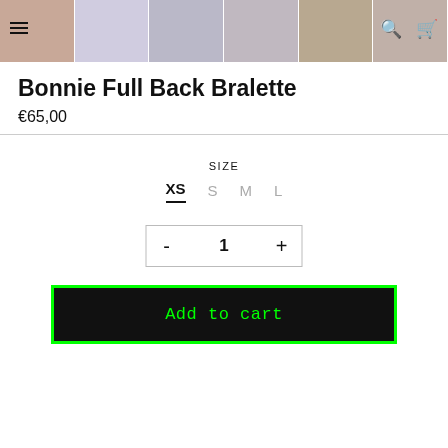[Figure (photo): Horizontal strip of 6 thumbnail photos of models wearing swimwear/bralette products]
Bonnie Full Back Bralette
€65,00
SIZE
XS  S  M  L
- 1 +
Add to cart